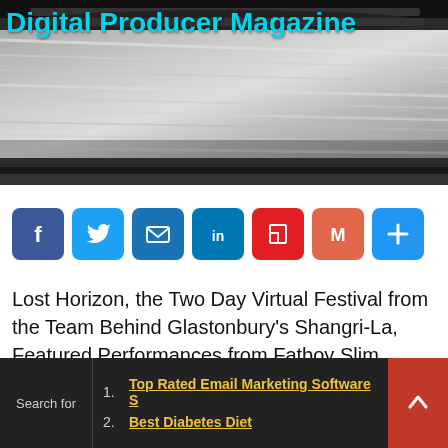[Figure (photo): Black and white photograph of a newspaper printing press with paper rolls, overlaid with the title 'Digital Producer Magazine' in cyan text]
Digital Producer Magazine
[Figure (infographic): Social media sharing buttons row: Facebook, Twitter, Email, LinkedIn, Flipboard, Gmail, More (plus icon)]
Lost Horizon, the Two Day Virtual Festival from the Team Behind Glastonbury's Shangri-La, Featured Performances from Fatboy Slim, Peggy Gou, Carl
Search for  1. Top Rated Email Marketing Software S  2. Best Diabetes Diet